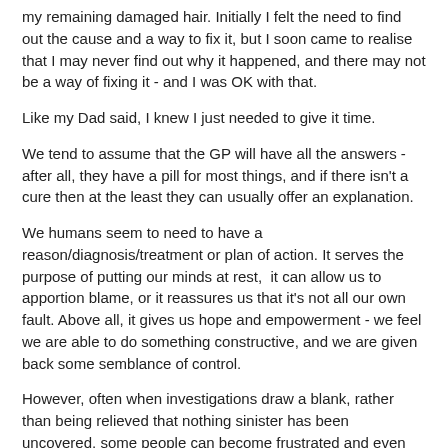my remaining damaged hair. Initially I felt the need to find out the cause and a way to fix it, but I soon came to realise that I may never find out why it happened, and there may not be a way of fixing it - and I was OK with that.
Like my Dad said, I knew I just needed to give it time.
We tend to assume that the GP will have all the answers - after all, they have a pill for most things, and if there isn't a cure then at the least they can usually offer an explanation.
We humans seem to need to have a reason/diagnosis/treatment or plan of action. It serves the purpose of putting our minds at rest,  it can allow us to apportion blame, or it reassures us that it's not all our own fault. Above all, it gives us hope and empowerment - we feel we are able to do something constructive, and we are given back some semblance of control.
However, often when investigations draw a blank, rather than being relieved that nothing sinister has been uncovered, some people can become frustrated and even disbelieving of the medical profession, and can feel that they have been let down.
What we're not terribly good at is sitting back, doing nothing and accepting something for what it is without knowing the reason why. It is the element of control, or lack of, which can really mess with our emotional well being because being able to exercise autonomy